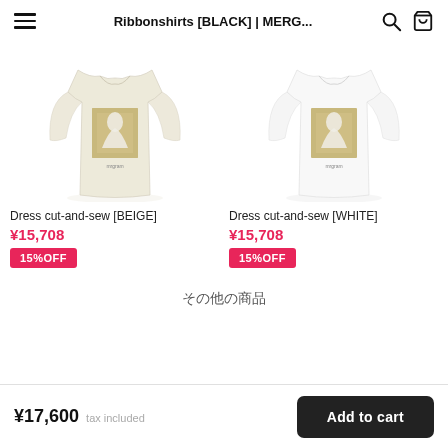Ribbonshirts [BLACK] | MERG...
[Figure (photo): Cream/beige long-sleeve graphic t-shirt with photo print on front]
Dress cut-and-sew [BEIGE]
¥15,708
15%OFF
[Figure (photo): White long-sleeve graphic t-shirt with photo print on front]
Dress cut-and-sew [WHITE]
¥15,708
15%OFF
その他の商品
¥17,600  tax included  |  Add to cart